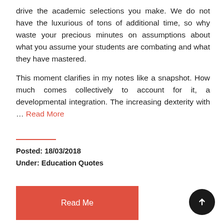drive the academic selections you make. We do not have the luxurious of tons of additional time, so why waste your precious minutes on assumptions about what you assume your students are combating and what they have mastered.
This moment clarifies in my notes like a snapshot. How much comes collectively to account for it, a developmental integration. The increasing dexterity with ... Read More
Posted: 18/03/2018
Under: Education Quotes
Read Me